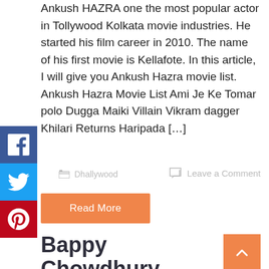Ankush HAZRA one the most popular actor in Tollywood Kolkata movie industries. He started his film career in 2010. The name of his first movie is Kellafote. In this article, I will give you Ankush Hazra movie list. Ankush Hazra Movie List Ami Je Ke Tomar polo Dugga Maiki Villain Vikram dagger Khilari Returns Haripada [...]
Dhallywood
Leave a Comment
Read More
Bappy Chowdhury Movie List – Comple